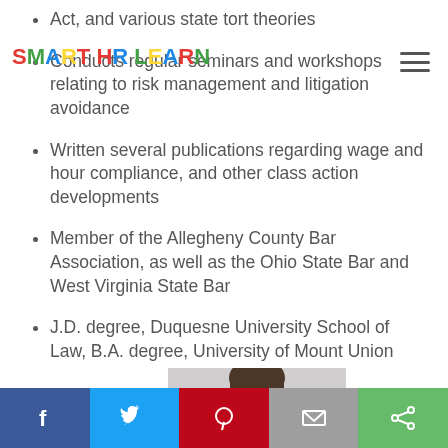[Figure (logo): SMART HR LEARN logo in multicolor letters]
Act, and various state tort theories
Conducts regular seminars and workshops relating to risk management and litigation avoidance
Written several publications regarding wage and hour compliance, and other class action developments
Member of the Allegheny County Bar Association, as well as the Ohio State Bar and West Virginia State Bar
J.D. degree, Duquesne University School of Law, B.A. degree, University of Mount Union
[Figure (photo): Partial headshot photo of a person at bottom of page]
[Figure (infographic): Social share bar with Facebook, Twitter, Pinterest, Email, and Share buttons]